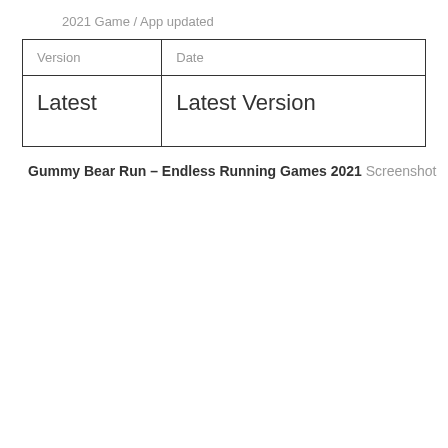2021 Game / App updated
| Version | Date |
| --- | --- |
| Latest | Latest Version |
Gummy Bear Run – Endless Running Games 2021 Screenshot